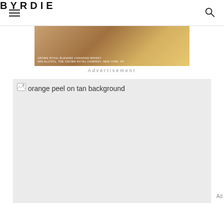BYRDIE
[Figure (photo): Advertisement banner showing Crown Royal blended Canadian Whisky with a glass of whisky on a wooden tray background. Text reads: CROWN ROYAL BLENDED CANADIAN WHISKY 40% ALC/VOL. THE CROWN ROYAL COMPANY, NEW YORK, NY]
Advertisement
[Figure (photo): orange peel on tan background — broken/loading image placeholder showing alt text]